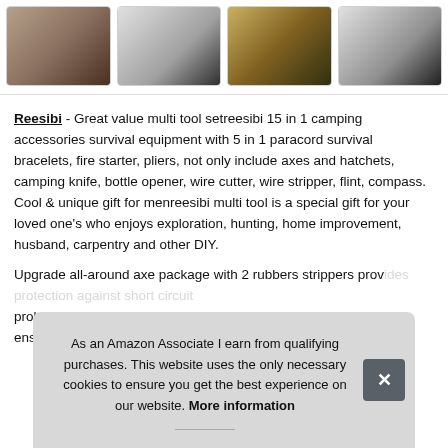[Figure (photo): Strip of four product thumbnail images showing camping/survival multi-tool sets]
Reesibi - Great value multi tool setreesibi 15 in 1 camping accessories survival equipment with 5 in 1 paracord survival bracelets, fire starter, pliers, not only include axes and hatchets, camping knife, bottle opener, wire cutter, wire stripper, flint, compass. Cool & unique gift for menreesibi multi tool is a special gift for your loved one's who enjoys exploration, hunting, home improvement, husband, carpentry and other DIY.
Upgrade all-around axe package with 2 rubbers strippers prov... prob... ens...
As an Amazon Associate I earn from qualifying purchases. This website uses the only necessary cookies to ensure you get the best experience on our website. More information